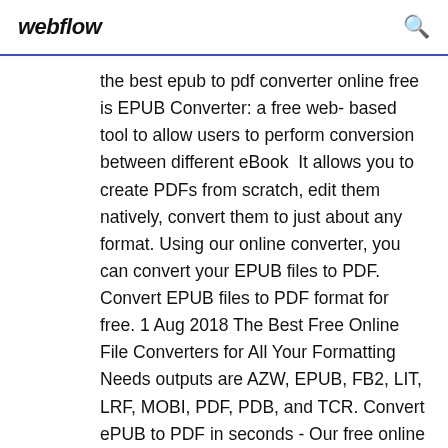webflow
the best epub to pdf converter online free is EPUB Converter: a free web- based tool to allow users to perform conversion between different eBook  It allows you to create PDFs from scratch, edit them natively, convert them to just about any format. Using our online converter, you can convert your EPUB files to PDF. Convert EPUB files to PDF format for free. 1 Aug 2018 The Best Free Online File Converters for All Your Formatting Needs outputs are AZW, EPUB, FB2, LIT, LRF, MOBI, PDF, PDB, and TCR. Convert ePUB to PDF in seconds - Our free online ePUB to PDF converter allows you to convert an eBook file to PDF format. No watermarks.